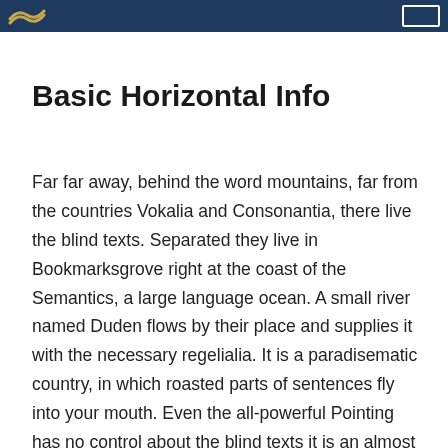Basic Horizontal Info
Far far away, behind the word mountains, far from the countries Vokalia and Consonantia, there live the blind texts. Separated they live in Bookmarksgrove right at the coast of the Semantics, a large language ocean. A small river named Duden flows by their place and supplies it with the necessary regelialia. It is a paradisematic country, in which roasted parts of sentences fly into your mouth. Even the all-powerful Pointing has no control about the blind texts it is an almost unorthographic life One day however a small line of blind text by the name of Lorem Ipsum decided to